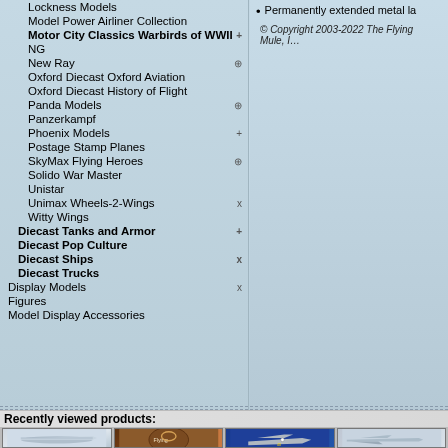Lockness Models
Model Power Airliner Collection
Motor City Classics Warbirds of WWII
NG
New Ray
Oxford Diecast Oxford Aviation
Oxford Diecast History of Flight
Panda Models
Panzerkampf
Phoenix Models
Postage Stamp Planes
SkyMax Flying Heroes
Solido War Master
Unistar
Unimax Wheels-2-Wings
Witty Wings
Diecast Tanks and Armor
Diecast Pop Culture
Diecast Ships
Diecast Trucks
Display Models
Figures
Model Display Accessories
Permanently extended metal la
© Copyright 2003-2022 The Flying Mule, I…
Recently viewed products:
[Figure (photo): Thumbnail of a propeller airplane model (white/silver), side view]
[Figure (photo): Thumbnail of a coffee mug with aviation/flying mule artwork on brown/tan background]
[Figure (photo): Thumbnail of a WWII fighter aircraft model (P-51 Mustang style) on blue background, number 40]
[Figure (photo): Thumbnail of a jet aircraft model, gray/silver, partial view]